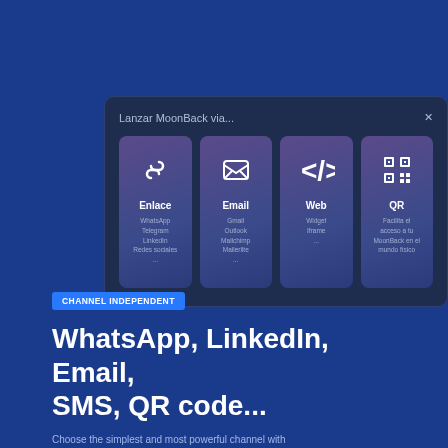[Figure (screenshot): Modal dialog showing MoonBack launch options with four cards: Enlace (WhatsApp, Telegram, LinkedIn, Redes sociales), Email (Gmail, Outlook, Mailchimp, Mailerlite), Web (Widget, Iframe), and QR (Facilita el acceso a tu MoonBack en el mundo fisico)]
CHANNEL INDEPENDENT
WhatsApp, LinkedIn, Email, SMS, QR code...
Choose the simplest and most powerful channel with...